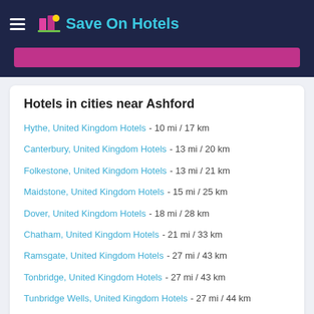Save On Hotels
Hotels in cities near Ashford
Hythe, United Kingdom Hotels - 10 mi / 17 km
Canterbury, United Kingdom Hotels - 13 mi / 20 km
Folkestone, United Kingdom Hotels - 13 mi / 21 km
Maidstone, United Kingdom Hotels - 15 mi / 25 km
Dover, United Kingdom Hotels - 18 mi / 28 km
Chatham, United Kingdom Hotels - 21 mi / 33 km
Ramsgate, United Kingdom Hotels - 27 mi / 43 km
Tonbridge, United Kingdom Hotels - 27 mi / 43 km
Tunbridge Wells, United Kingdom Hotels - 27 mi / 44 km
Gravesend, United Kingdom Hotels - 29 mi / 46 km